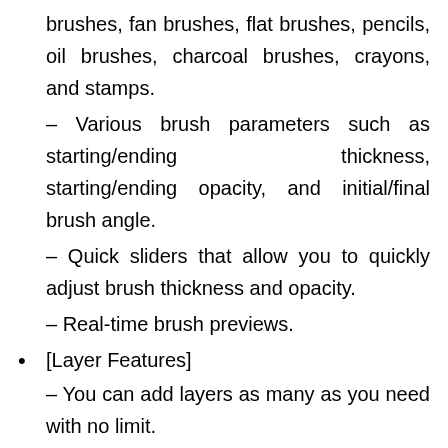brushes, fan brushes, flat brushes, pencils, oil brushes, charcoal brushes, crayons, and stamps.
– Various brush parameters such as starting/ending thickness, starting/ending opacity, and initial/final brush angle.
– Quick sliders that allow you to quickly adjust brush thickness and opacity.
– Real-time brush previews.
• [Layer Features]
– You can add layers as many as you need with no limit.